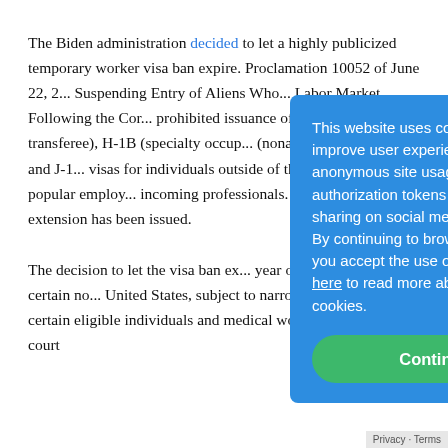The Biden administration decided to let a highly publicized temporary worker visa ban expire. Proclamation 10052 of June 22, 2... Suspending Entry of Aliens Who... Labor Market Following the Cor... prohibited issuance of new temporary... transferee), H-1B (specialty occup... (nonagricultural workers) and J-1... visas for individuals outside of th... some of the most popular employ... incoming professionals. The ban e... and no extension has been issued.
This website uses cookies to improve user experience, track anonymous site usage, store authorization tokens and permit sharing on social media networks. By continuing to browse this website you accept the use of cookies. Click here to read more about how we use cookies.
The decision to let the visa ban ex... year of prohibitions on certain no... United States, subject to narrow exemptions for certain eligible individuals and medical workers, and a district court